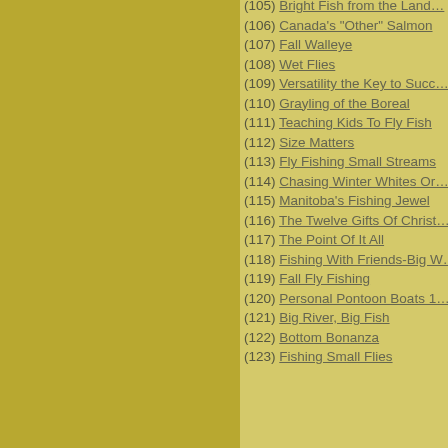(105) Bright Fish from the Land…
(106) Canada's "Other" Salmon
(107) Fall Walleye
(108) Wet Flies
(109) Versatility the Key to Succ…
(110) Grayling of the Boreal
(111) Teaching Kids To Fly Fish
(112) Size Matters
(113) Fly Fishing Small Streams
(114) Chasing Winter Whites Or…
(115) Manitoba's Fishing Jewel
(116) The Twelve Gifts Of Christ…
(117) The Point Of It All
(118) Fishing With Friends-Big W…
(119) Fall Fly Fishing
(120) Personal Pontoon Boats 1…
(121) Big River, Big Fish
(122) Bottom Bonanza
(123) Fishing Small Flies